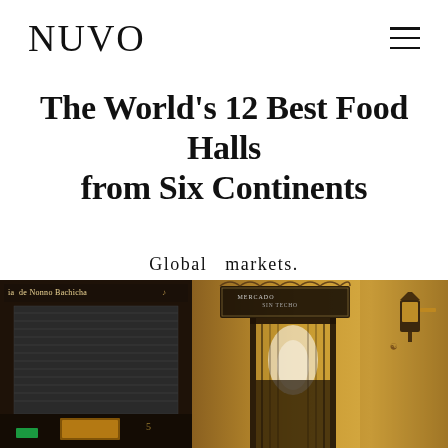NUVO
The World's 12 Best Food Halls from Six Continents
Global markets.
Writer Michelle Tchea
[Figure (photo): Photo of a food market entrance showing two panels: left panel with a dark closed shop front with signage reading 'de Nonno Bachicha', and right panel showing a lit archway entrance to a covered market with ornate ironwork sign and a lantern on the wall.]